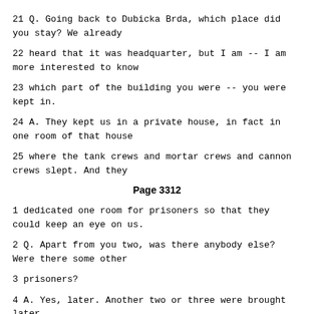21 Q. Going back to Dubicka Brda, which place did you stay? We already
22 heard that it was headquarter, but I am -- I am more interested to know
23 which part of the building you were -- you were kept in.
24 A. They kept us in a private house, in fact in one room of that house
25 where the tank crews and mortar crews and cannon crews slept. And they
Page 3312
1 dedicated one room for prisoners so that they could keep an eye on us.
2 Q. Apart from you two, was there anybody else? Were there some other
3 prisoners?
4 A. Yes, later. Another two or three were brought later.
5 Q. How were you treated in this headquarter in -- in Dubicka Brda?